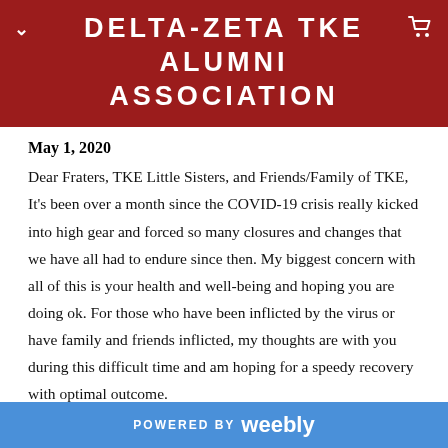DELTA-ZETA TKE ALUMNI ASSOCIATION
May 1, 2020
Dear Fraters, TKE Little Sisters, and Friends/Family of TKE,
It's been over a month since the COVID-19 crisis really kicked into high gear and forced so many closures and changes that we have all had to endure since then. My biggest concern with all of this is your health and well-being and hoping you are doing ok. For those who have been inflicted by the virus or have family and friends inflicted, my thoughts are with you during this difficult time and am hoping for a speedy recovery with optimal outcome.
POWERED BY weebly